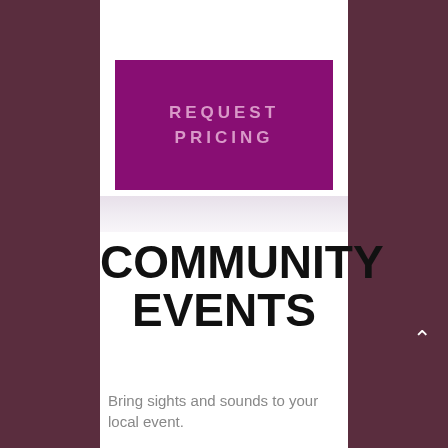REQUEST PRICING
COMMUNITY EVENTS
Bring sights and sounds to your local event.